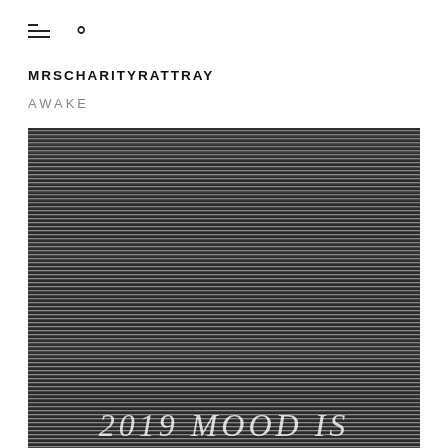≡ ○
MRSCHARITYRATTRAY
AWAKE
[Figure (photo): A dark abstract image composed of dense horizontal black and gray lines creating a textured pattern, with italic white text '2019 MOOD IS' partially visible at the bottom edge.]